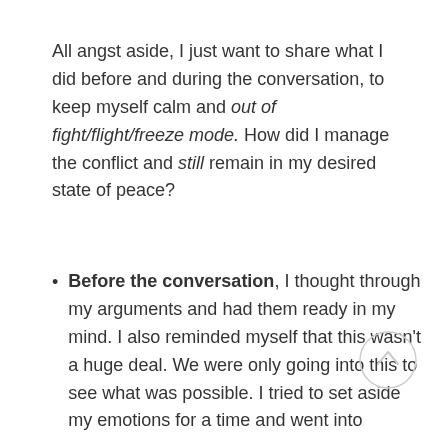All angst aside, I just want to share what I did before and during the conversation, to keep myself calm and out of fight/flight/freeze mode. How did I manage the conflict and still remain in my desired state of peace?
Before the conversation, I thought through my arguments and had them ready in my mind. I also reminded myself that this wasn't a huge deal. We were only going into this to see what was possible. I tried to set aside my emotions for a time and went into